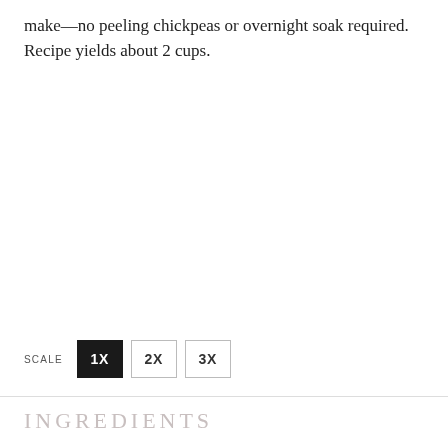make—no peeling chickpeas or overnight soak required. Recipe yields about 2 cups.
SCALE  1X  2X  3X
INGREDIENTS